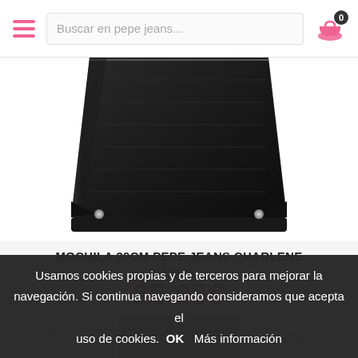Buscar en pepe jeans...
[Figure (photo): Black leather backpack (Pepe Jeans Charlene), bottom portion visible showing rivets and textured surface]
MOCHILA 29CM PEPE JEANS CHARLENE 7232 051
65.95€
Usamos cookies propias y de terceros para mejorar la navegación. Si continua navegando consideramos que acepta el uso de cookies. OK  Más información